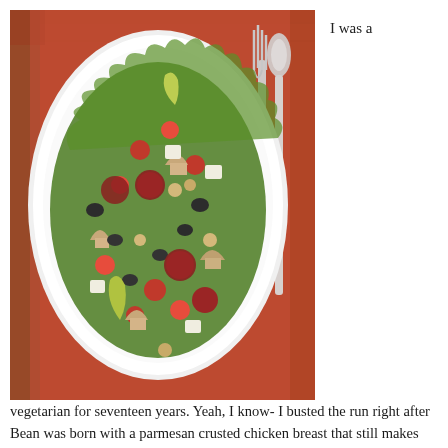[Figure (photo): Overhead view of a large oval white plate filled with a colorful antipasto-style salad including olives, cherry tomatoes, mushrooms, chickpeas, salami slices, pepperoncini, and cubed cheese on a bed of leafy greens, placed on a red/orange napkin with a wood plank surface visible; a silver fork and spoon rest to the right of the plate.]
I was a
vegetarian for seventeen years. Yeah, I know- I busted the run right after Bean was born with a parmesan crusted chicken breast that still makes me drool thinking about it. Then last year I had my first steak. Oh lawsy, it was divine. But every once in a while I still get a